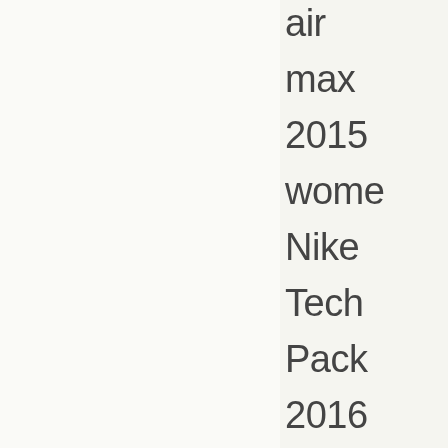air
max
2015
wome
Nike
Tech
Pack
2016
Fall
Series
Nike